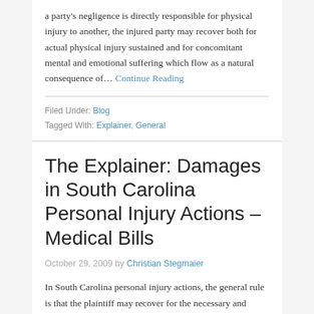a party's negligence is directly responsible for physical injury to another, the injured party may recover both for actual physical injury sustained and for concomitant mental and emotional suffering which flow as a natural consequence of… Continue Reading
Filed Under: Blog
Tagged With: Explainer, General
The Explainer: Damages in South Carolina Personal Injury Actions – Medical Bills
October 29, 2009 by Christian Stegmaier
In South Carolina personal injury actions, the general rule is that the plaintiff may recover for the necessary and